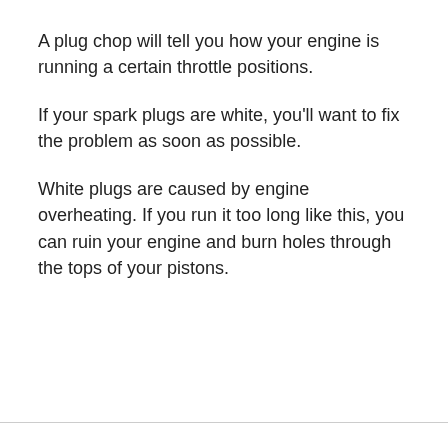A plug chop will tell you how your engine is running a certain throttle positions.
If your spark plugs are white, you’ll want to fix the problem as soon as possible.
White plugs are caused by engine overheating. If you run it too long like this, you can ruin your engine and burn holes through the tops of your pistons.